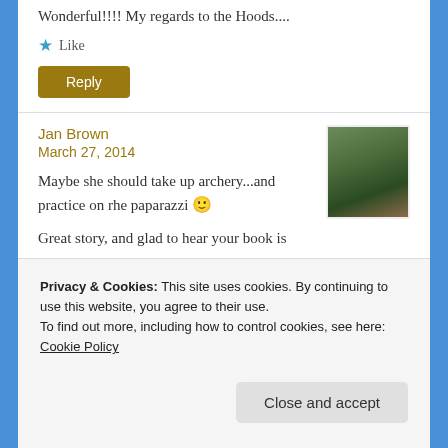Wonderful!!!! My regards to the Hoods....
Like
Reply
Jan Brown
March 27, 2014
[Figure (photo): Avatar photo of Jan Brown, a woman with reddish-brown hair wearing a dark jacket, outdoors with greenery in background]
Maybe she should take up archery...and practice on rhe paparazzi 🙂
Great story, and glad to hear your book is
Privacy & Cookies: This site uses cookies. By continuing to use this website, you agree to their use.
To find out more, including how to control cookies, see here: Cookie Policy
Close and accept
March 27, 2014